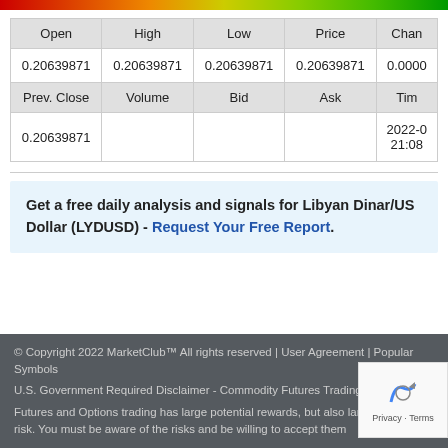[Figure (other): Color gradient bar ranging from red on left to green on right]
| Open | High | Low | Price | Chan… |
| --- | --- | --- | --- | --- |
| 0.20639871 | 0.20639871 | 0.20639871 | 0.20639871 | 0.00000… |
| Prev. Close | Volume | Bid | Ask | Tim… |
| 0.20639871 |  |  |  | 2022-0… 21:08… |
Get a free daily analysis and signals for Libyan Dinar/US Dollar (LYDUSD) - Request Your Free Report.
© Copyright 2022 MarketClub™ All rights reserved | User Agreement | Popular Symbols

U.S. Government Required Disclaimer - Commodity Futures Trading Commission
Futures and Options trading has large potential rewards, but also large potential risk. You must be aware of the risks and be willing to accept them